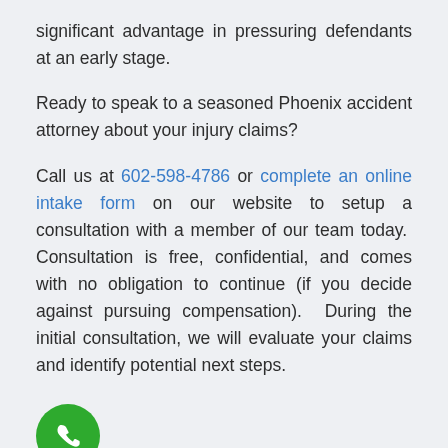significant advantage in pressuring defendants at an early stage.
Ready to speak to a seasoned Phoenix accident attorney about your injury claims?
Call us at 602-598-4786 or complete an online intake form on our website to setup a consultation with a member of our team today. Consultation is free, confidential, and comes with no obligation to continue (if you decide against pursuing compensation). During the initial consultation, we will evaluate your claims and identify potential next steps.
[Figure (illustration): Green circular phone call button with white phone handset icon]